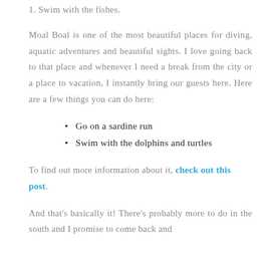1. Swim with the fishes.
Moal Boal is one of the most beautiful places for diving, aquatic adventures and beautiful sights. I love going back to that place and whenever I need a break from the city or a place to vacation, I instantly bring our guests here. Here are a few things you can do here:
Go on a sardine run
Swim with the dolphins and turtles
To find out more information about it, check out this post.
And that's basically it! There's probably more to do in the south and I promise to come back and